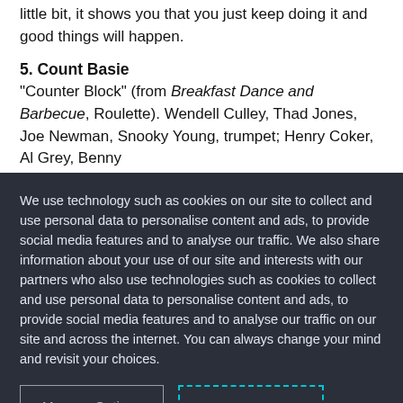little bit, it shows you that you just keep doing it and good things will happen.
5. Count Basie
“Counter Block” (from Breakfast Dance and Barbecue, Roulette). Wendell Culley, Thad Jones, Joe Newman, Snooky Young, trumpet; Henry Coker, Al Grey, Benny
We use technology such as cookies on our site to collect and use personal data to personalise content and ads, to provide social media features and to analyse our traffic. We also share information about your use of our site and interests with our partners who also use technologies such as cookies to collect and use personal data to personalise content and ads, to provide social media features and to analyse our traffic on our site and across the internet. You can always change your mind and revisit your choices.
Manage Options
I Accept